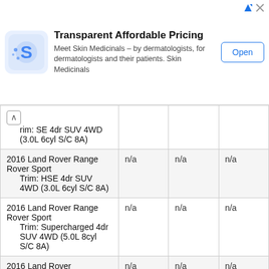[Figure (other): Advertisement banner: Skin Medicinals app ad with logo, title 'Transparent Affordable Pricing', body text 'Meet Skin Medicinals – by dermatologists, for dermatologists and their patients. Skin Medicinals', and an 'Open' button.]
| Vehicle |  |  |  |
| --- | --- | --- | --- |
| Trim: SE 4dr SUV 4WD (3.0L 6cyl S/C 8A) |  |  |  |
| 2016 Land Rover Range Rover Sport
Trim: HSE 4dr SUV 4WD (3.0L 6cyl S/C 8A) | n/a | n/a | n/a |
| 2016 Land Rover Range Rover Sport
Trim: Supercharged 4dr SUV 4WD (5.0L 8cyl S/C 8A) | n/a | n/a | n/a |
| 2016 Land Rover | n/a | n/a | n/a |